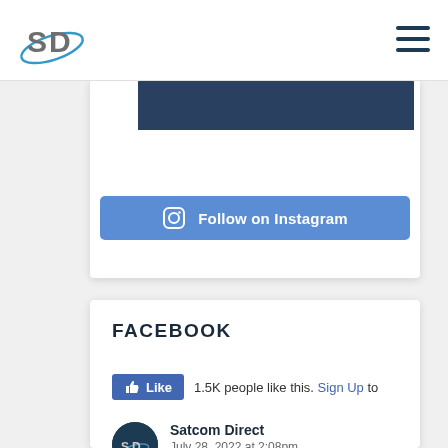[Figure (logo): Satcom Direct logo with SD letters and orbit ring in blue, top left header]
[Figure (screenshot): Hamburger menu icon, top right header]
[Figure (screenshot): Instagram widget card with dark image strip at top and Follow on Instagram button]
FACEBOOK
1.5K people like this. Sign Up to
Satcom Direct
July 28, 2022 at 2:08pm